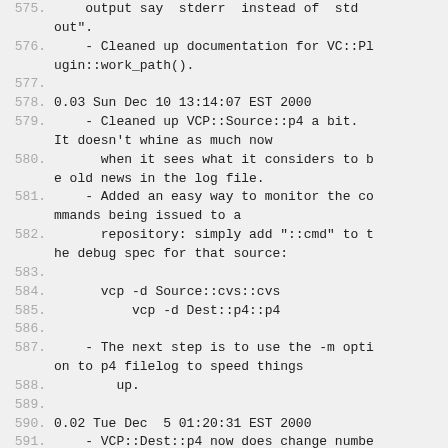575. output say 'stderr' instead of 'stdout'.
576. - Cleaned up documentation for VC::Plugin::work_path().
577.
578. 0.03 Sun Dec 10 13:14:07 EST 2000
579. - Cleaned up VCP::Source::p4 a bit. It doesn't whine as much now
580. when it sees what it considers to be old news in the log file.
581. - Added an easy way to monitor the commands being issued to a
582. repository: simply add "::cmd" to the debug spec for that source:
583.
584. vcp -d Source::cvs::cvs
585. vcp -d Dest::p4::p4
586.
587. - The next step is to use the -m option to p4 filelog to speed things
588. up.
589.
590. 0.02 Tue Dec  5 01:20:31 EST 2000
591. - VCP::Dest::p4 now does change number aggregation based on the
592. ...